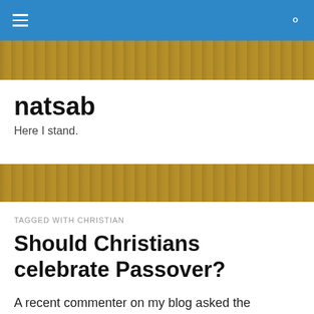natsab — navigation bar with hamburger menu and search icon
[Figure (photo): Decorative banner image showing ancient Hebrew/Aramaic script on parchment or stone, golden-brown tones]
natsab
Here I stand.
[Figure (photo): Decorative banner image showing ancient Hebrew/Aramaic script on parchment or stone, golden-brown tones (bottom)]
TAGGED WITH CHRISTIAN
Should Christians celebrate Passover?
A recent commenter on my blog asked the question, "Should Christians celebrate Passover?"  While this is certainly a controversial topic, it is absolutely one that needs to be visited on a regular basis, and the answer needs to be Scriptural, not based on man's traditions and